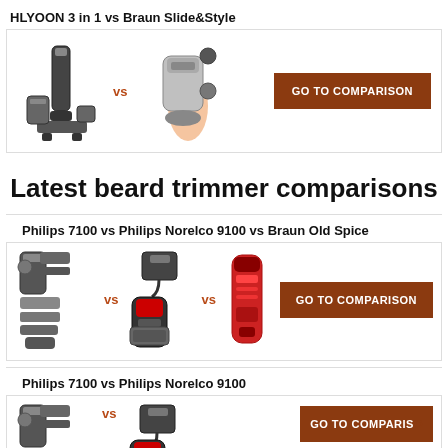HLYOON 3 in 1 vs Braun Slide&Style
[Figure (photo): HLYOON 3 in 1 trimmer product image vs Braun Slide&Style product image with GO TO COMPARISON button]
Latest beard trimmer comparisons
Philips 7100 vs Philips Norelco 9100 vs Braun Old Spice
[Figure (photo): Philips 7100 trimmer set vs Philips Norelco 9100 vs Braun Old Spice red trimmer, with GO TO COMPARISON button]
Philips 7100 vs Philips Norelco 9100
[Figure (photo): Philips 7100 trimmer vs Philips Norelco 9100 with GO TO COMPARISON button (partially visible)]